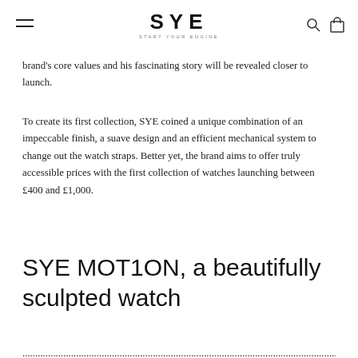SYE — START YOUR ENGINE
brand's core values and his fascinating story will be revealed closer to launch.
To create its first collection, SYE coined a unique combination of an impeccable finish, a suave design and an efficient mechanical system to change out the watch straps. Better yet, the brand aims to offer truly accessible prices with the first collection of watches launching between £400 and £1,000.
SYE MOT1ON, a beautifully sculpted watch
...